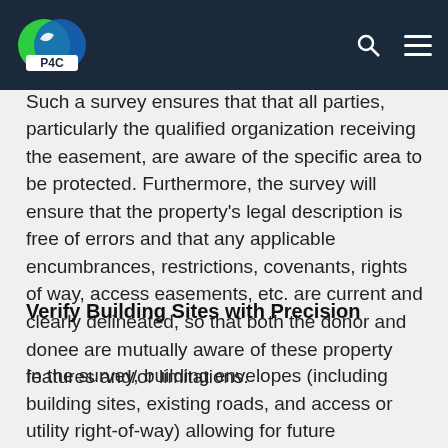PICO logo navigation bar
donors or their representatives must prepare a current survey that clearly identifies the property subject to the conservation easement. Such a survey ensures that that all parties, particularly the qualified organization receiving the easement, are aware of the specific area to be protected. Furthermore, the survey will ensure that the property's legal description is free of errors and that any applicable encumbrances, restrictions, covenants, rights of way, access easements, etc. are current and clearly delineated, so that both the donor and donee are mutually aware of these property features and/or limitations.
Verify Building Sites with Precision
In the survey, building envelopes (including building sites, existing roads, and access or utility right-of-way) allowing for future development of any kind should be surveyed or determined with Global Positioning